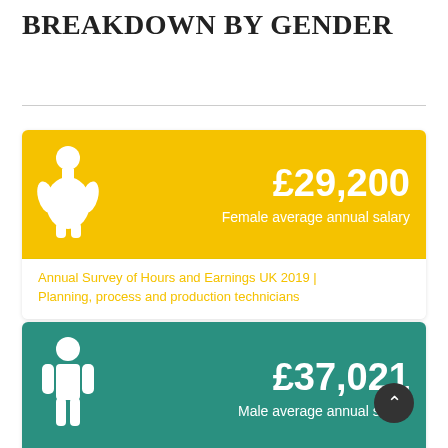BREAKDOWN BY GENDER
[Figure (infographic): Female salary infographic card. Yellow background with female icon and text: £29,200 Female average annual salary. Below: Annual Survey of Hours and Earnings UK 2019 | Planning, process and production technicians]
[Figure (infographic): Male salary infographic card. Teal/green background with male icon and text: £37,021 Male average annual salary]